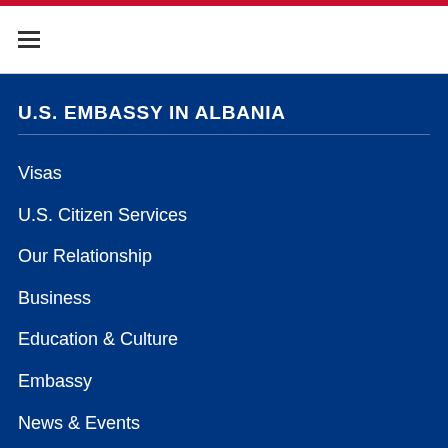U.S. EMBASSY IN ALBANIA
Visas
U.S. Citizen Services
Our Relationship
Business
Education & Culture
Embassy
News & Events
Privacy
Sitemap